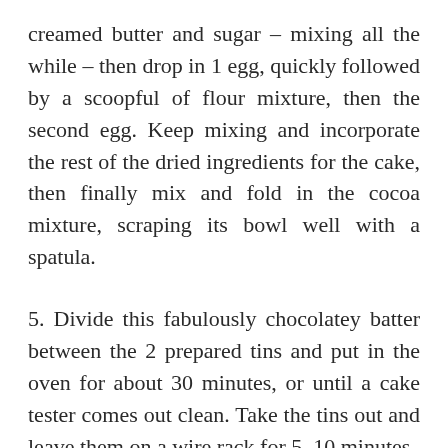creamed butter and sugar – mixing all the while – then drop in 1 egg, quickly followed by a scoopful of flour mixture, then the second egg. Keep mixing and incorporate the rest of the dried ingredients for the cake, then finally mix and fold in the cocoa mixture, scraping its bowl well with a spatula.
5. Divide this fabulously chocolatey batter between the 2 prepared tins and put in the oven for about 30 minutes, or until a cake tester comes out clean. Take the tins out and leave them on a wire rack for 5–10 minutes,